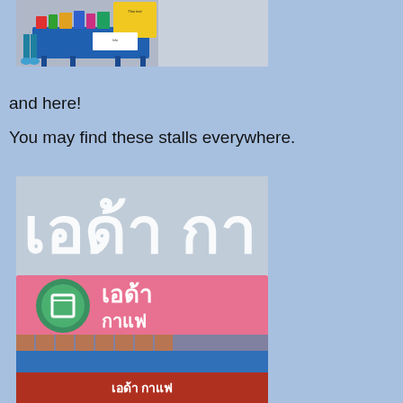[Figure (photo): Outdoor market food stall with blue cart, colorful items on display, and yellow price/menu signs in Thai language. People visible in background.]
and here!
You may find these stalls everywhere.
[Figure (photo): Exterior of a Thai store or coffee shop (Oda Cafe) with large Thai script signage on the building facade, a pink banner with green circle logo, and a red sign below with Thai text.]